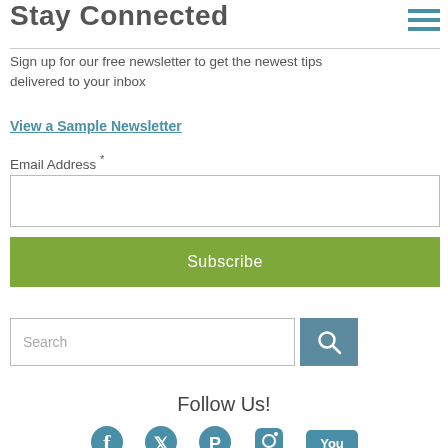Stay Connected
Sign up for our free newsletter to get the newest tips delivered to your inbox
View a Sample Newsletter
Email Address *
Subscribe
Search
Follow Us!